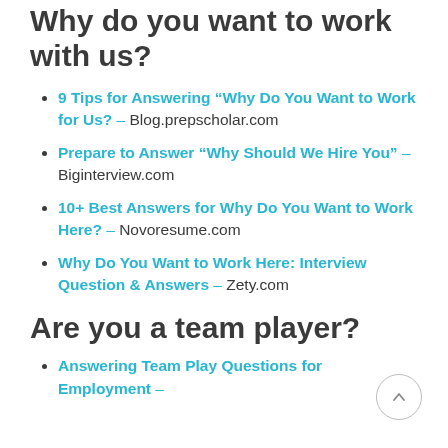Why do you want to work with us?
9 Tips for Answering “Why Do You Want to Work for Us?” – Blog.prepscholar.com
Prepare to Answer “Why Should We Hire You” – Biginterview.com
10+ Best Answers for Why Do You Want to Work Here? – Novoresume.com
Why Do You Want to Work Here: Interview Question & Answers – Zety.com
Are you a team player?
Answering Team Play Questions for Employment –